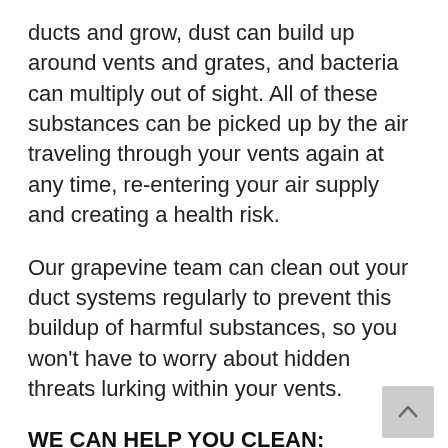ducts and grow, dust can build up around vents and grates, and bacteria can multiply out of sight. All of these substances can be picked up by the air traveling through your vents again at any time, re-entering your air supply and creating a health risk.
Our grapevine team can clean out your duct systems regularly to prevent this buildup of harmful substances, so you won't have to worry about hidden threats lurking within your vents.
WE CAN HELP YOU CLEAN:
Air Ducts